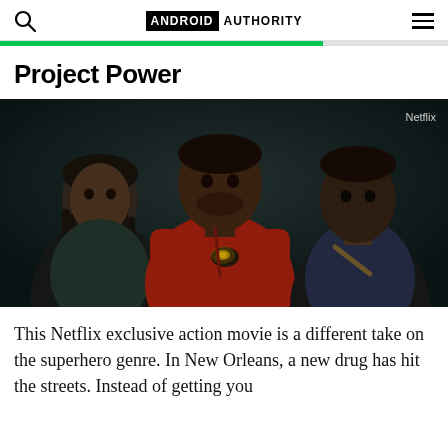ANDROID AUTHORITY
Project Power
[Figure (photo): Three characters from the Netflix movie Project Power standing against a dark background. Center character in red jacket holds a glowing pill. 'Netflix' watermark in top right corner.]
This Netflix exclusive action movie is a different take on the superhero genre. In New Orleans, a new drug has hit the streets. Instead of getting you